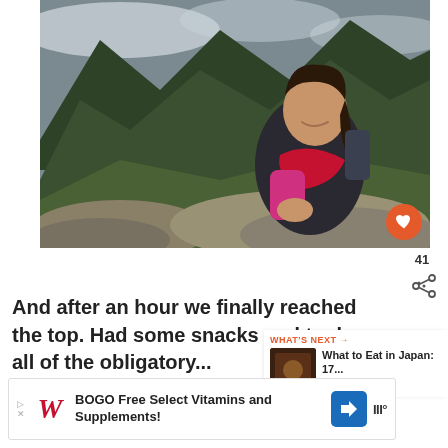[Figure (photo): Woman sitting on large rocks at the top of a mountain, smiling at camera, wearing dark jacket and red scarf, with mountain ranges and clouds in background]
And after an hour we finally reached the top. Had some snacks and took all of the obligatory...
WHAT'S NEXT → What to Eat in Japan: 17...
BOGO Free Select Vitamins and Supplements!